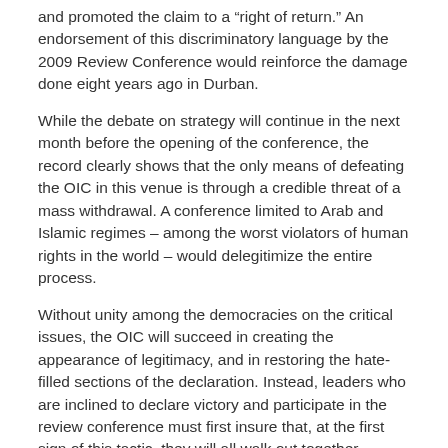and promoted the claim to a “right of return.” An endorsement of this discriminatory language by the 2009 Review Conference would reinforce the damage done eight years ago in Durban.
While the debate on strategy will continue in the next month before the opening of the conference, the record clearly shows that the only means of defeating the OIC in this venue is through a credible threat of a mass withdrawal. A conference limited to Arab and Islamic regimes – among the worst violators of human rights in the world – would delegitimize the entire process.
Without unity among the democracies on the critical issues, the OIC will succeed in creating the appearance of legitimacy, and in restoring the hate-filled sections of the declaration. Instead, leaders who are inclined to declare victory and participate in the review conference must first insure that, at the first sign of this tactic, they will all walk out together, including every member of the European Union. And if this is impossible, particularly regarding the Europeans, they should stay away.
The writer is the Executive Director of NGO Monitor and chairs the Political Science department at Bar Ilan University.